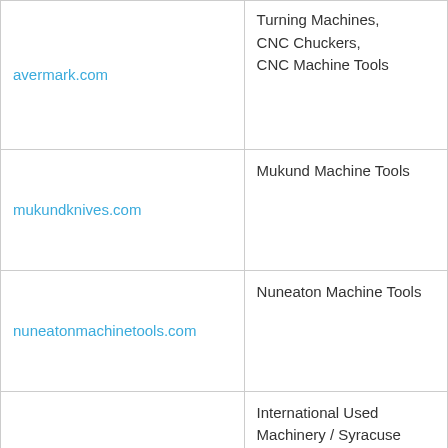| Website | Description |
| --- | --- |
| avermark.com | Turning Machines, CNC Chuckers, CNC Machine Tools |
| mukundknives.com | Mukund Machine Tools |
| nuneatonmachinetools.com | Nuneaton Machine Tools |
| internationalusedmachinery.com | International Used Machinery / Syracuse Machine Tools INC. |
| used-machine-tool.com | Used machine tools from Ipar Maquina SL – Spain – Second hand machines – Used machine tools from Ipar Maquina |